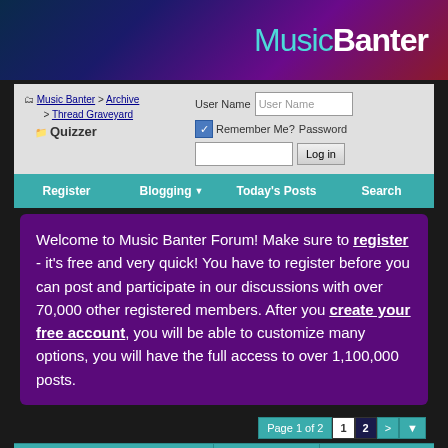[Figure (screenshot): Music Banter forum website banner with logo showing MusicBanter text on dark blue/purple/red gradient background with CD and concert imagery]
Music Banter > Archive > Thread Graveyard
Quizzer
User Name | Password | Remember Me? | Log in
Register | Blogging | Today's Posts | Search
Welcome to Music Banter Forum! Make sure to register - it's free and very quick! You have to register before you can post and participate in our discussions with over 70,000 other registered members. After you create your free account, you will be able to customize many options, you will have the full access to over 1,100,000 posts.
Page 1 of 2  1  2  >
Thread Tools ▾  Display Modes ▾